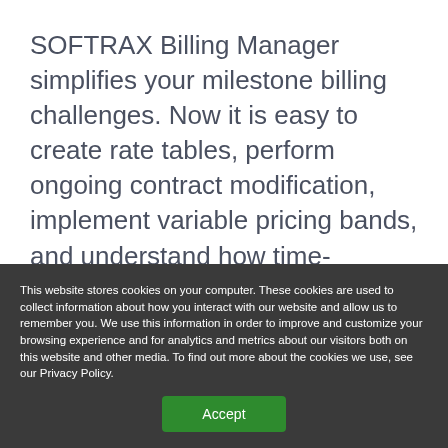SOFTRAX Billing Manager simplifies your milestone billing challenges.  Now it is easy to create rate tables, perform ongoing contract modification, implement variable pricing bands, and understand how time-dependent pricing affects future account profitability.
> SUBSCRIPTION BILLING
> CONSUMPTION BILLING
This website stores cookies on your computer. These cookies are used to collect information about how you interact with our website and allow us to remember you. We use this information in order to improve and customize your browsing experience and for analytics and metrics about our visitors both on this website and other media. To find out more about the cookies we use, see our Privacy Policy.